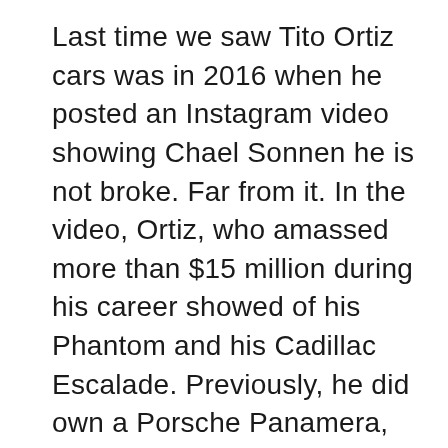Last time we saw Tito Ortiz cars was in 2016 when he posted an Instagram video showing Chael Sonnen he is not broke. Far from it. In the video, Ortiz, who amassed more than $15 million during his career showed of his Phantom and his Cadillac Escalade. Previously, he did own a Porsche Panamera, another Phantom, and an old Cadillac Escalade back in 2003. Interestingly enough, he did crash a few times – he crashed his first Escalade hitting a pole, he crashed a Scion tC he drove as part of some marketing stunt, he crashed his $300,000 worth Rolls-Royce and even